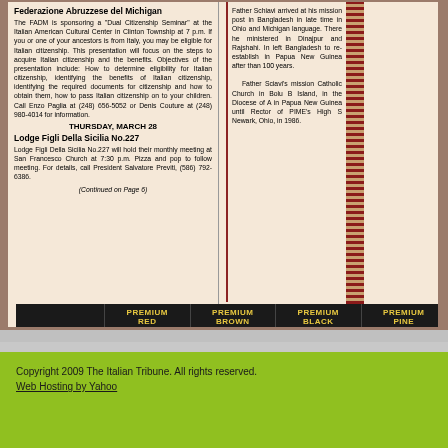Federazione Abruzzese del Michigan
The FADM is sponsoring a "Dual Citizenship Seminar" at the Italian American Cultural Center in Clinton Township at 7 p.m. If you or one of your ancestors is from Italy, you may be eligible for Italian citizenship. This presentation will focus on the steps to acquire Italian citizenship and the benefits. Objectives of the presentation include: How to determine eligibility for Italian citizenship, identifying the benefits of Italian citizenship, identifying the required documents for citizenship and how to obtain them, how to pass Italian citizenship on to your children. Call Enzo Paglia at (248) 656-5052 or Denis Couture at (248) 980-4014 for information.
THURSDAY, MARCH 28
Lodge Figli Della Sicilia No.227
Lodge Figli Della Sicilia No.227 will hold their monthly meeting at San Francesco Church at 7:30 p.m. Pizza and pop to follow meeting. For details, call President Salvatore Previti, (586) 792-6386.
(Continued on Page 6)
Father Schiavi arrived at his mission post in Bangladesh in late time in Ohio and Michigan language. There he ministered in Dinajpur and Rajshahi. In left Bangladesh to re-establish in Papua New Guinea after than 100 years.
Father Sciavi's mission Catholic Church in Bolu B Island, in the Diocese of A in Papua New Guinea until Rector of PIME's High S Newark, Ohio, in 1986.
[Figure (infographic): Plant Center United advertisement banner showing mulch products: Premium Red $29/yd, Premium Brown $29/yd, Premium Black $29/yd, Premium Pine $33/yd]
Copyright 2009 The Italian Tribune. All rights reserved. Web Hosting by Yahoo